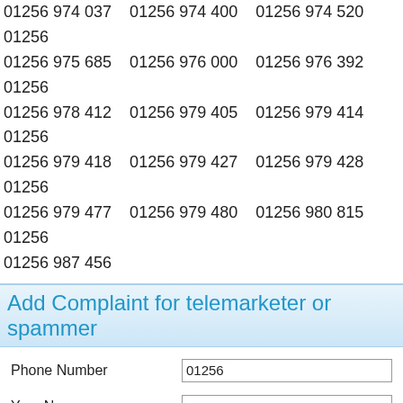01256 974 037   01256 974 400   01256 974 520   01256
01256 975 685   01256 976 000   01256 976 392   01256
01256 978 412   01256 979 405   01256 979 414   01256
01256 979 418   01256 979 427   01256 979 428   01256
01256 979 477   01256 979 480   01256 980 815   01256
01256 987 456
Add Complaint for telemarketer or spammer
Phone Number: 01256
Your Name
Your Gender: Male (selected), Female
Your Email
Complaint description